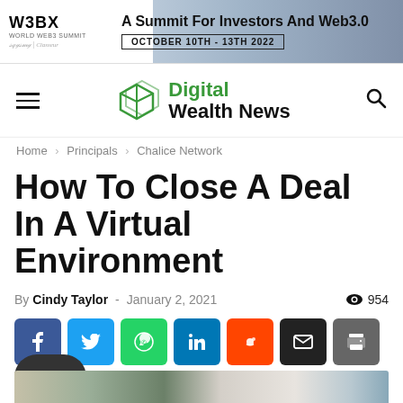[Figure (other): W3BX advertisement banner: 'A Summit For Investors And Web3.0' October 10th - 13th 2022]
Digital Wealth News
Home › Principals › Chalice Network
How To Close A Deal In A Virtual Environment
By Cindy Taylor - January 2, 2021  954
[Figure (other): Social share buttons: Facebook, Twitter, WhatsApp, LinkedIn, Reddit, Email, Print; comment bubble below]
[Figure (photo): Blurred photo of a laptop/tablet on a desk with plant in background]